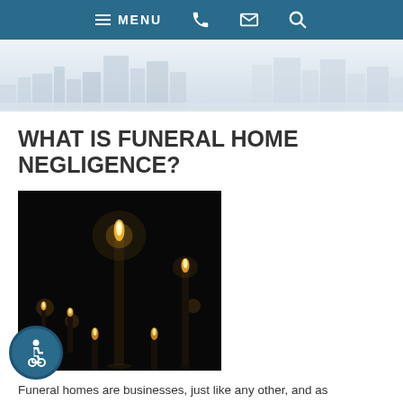MENU
[Figure (photo): City skyline banner image with buildings in a hazy/foggy background]
WHAT IS FUNERAL HOME NEGLIGENCE?
[Figure (photo): Dark photograph of multiple lit candles of varying heights against a black background]
Funeral homes are businesses, just like any other, and as